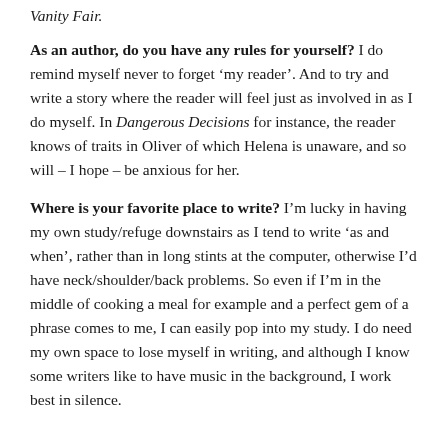Vanity Fair.
As an author, do you have any rules for yourself? I do remind myself never to forget ‘my reader’. And to try and write a story where the reader will feel just as involved in as I do myself. In Dangerous Decisions for instance, the reader knows of traits in Oliver of which Helena is unaware, and so will – I hope – be anxious for her.
Where is your favorite place to write? I’m lucky in having my own study/refuge downstairs as I tend to write ‘as and when’, rather than in long stints at the computer, otherwise I’d have neck/shoulder/back problems. So even if I’m in the middle of cooking a meal for example and a perfect gem of a phrase comes to me, I can easily pop into my study. I do need my own space to lose myself in writing, and although I know some writers like to have music in the background, I work best in silence.